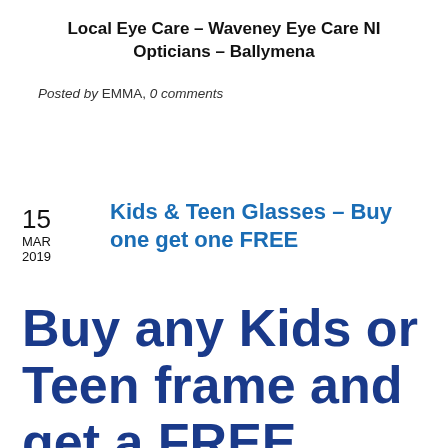Local Eye Care – Waveney Eye Care NI Opticians – Ballymena
Posted by EMMA, 0 comments
15 MAR 2019
Kids & Teen Glasses – Buy one get one FREE
Buy any Kids or Teen frame and get a FREE